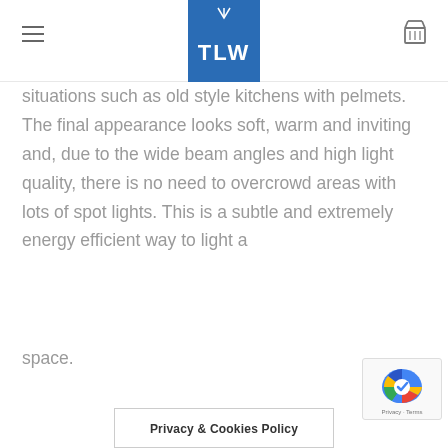TLW logo with hamburger menu and cart icon
situations such as old style kitchens with pelmets. The final appearance looks soft, warm and inviting and, due to the wide beam angles and high light quality, there is no need to overcrowd areas with lots of spot lights. This is a subtle and extremely energy efficient way to light a
space.
Privacy & Cookies Policy